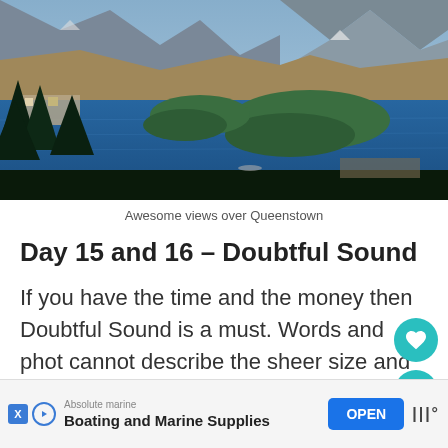[Figure (photo): Aerial view over Queenstown, New Zealand, showing a lake with forested peninsulas, town buildings, and mountains in the background under a blue sky]
Awesome views over Queenstown
Day 15 and 16 – Doubtful Sound
If you have the time and the money then Doubtful Sound is a must. Words and phot cannot describe the sheer size and beauty of th
[Figure (other): Advertisement banner: Absolute marine – Boating and Marine Supplies – OPEN button – logo with bar icons and degree symbol]